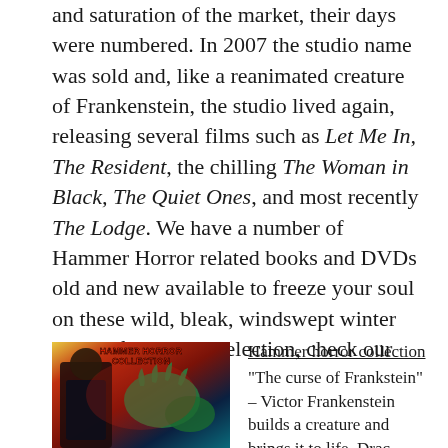and saturation of the market, their days were numbered. In 2007 the studio name was sold and, like a reanimated creature of Frankenstein, the studio lived again, releasing several films such as Let Me In, The Resident, the chilling The Woman in Black, The Quiet Ones, and most recently The Lodge. We have a number of Hammer Horror related books and DVDs old and new available to freeze your soul on these wild, bleak, windswept winter nights; for a small selection, check our list below.
[Figure (photo): Cover of Hammer Horror Collection DVD/book showing a man in a suit with a dramatic horror scene in the background with green monstrous hands and red and dark atmospheric colouring. Text reads HAMMER HORROR COLLECTION in bold red letters.]
Hammer horror collection "The curse of Frankstein" – Victor Frankenstein builds a creature and brings it to life. Dracula...